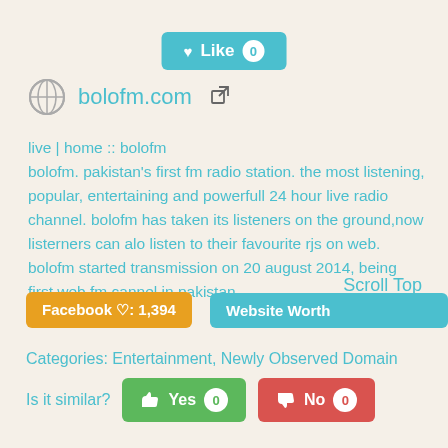[Figure (other): Like button with heart icon and count badge showing 0]
bolofm.com (with globe icon and external link icon)
live | home :: bolofm
bolofm. pakistan's first fm radio station. the most listening, popular, entertaining and powerfull 24 hour live radio channel. bolofm has taken its listeners on the ground,now listerners can alo listen to their favourite rjs on web. bolofm started transmission on 20 august 2014, being first web fm cannel in pakistan.
Scroll Top
Facebook ♡: 1,394
Website Worth
Categories: Entertainment, Newly Observed Domain
Is it similar?
Yes 0
No 0